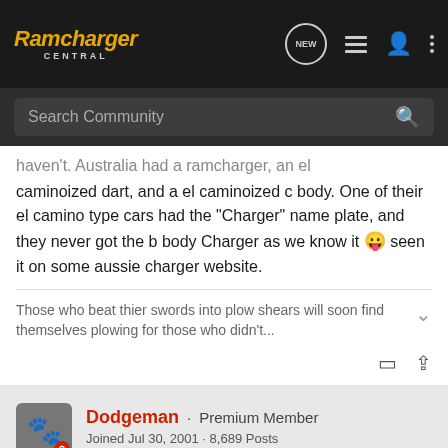Ramcharger Central
caminoized dart, and a el caminoized c body. One of their el camino type cars had the "Charger" name plate, and they never got the b body Charger as we know it 😛 seen it on some aussie charger website.
Those who beat thier swords into plow shears will soon find themselves plowing for those who didn't...
Dodgeman · Premium Member
Joined Jul 30, 2001 · 8,689 Posts